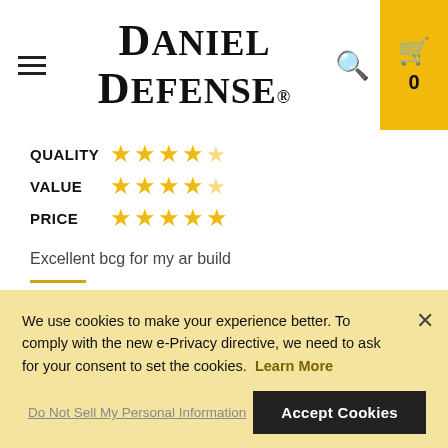[Figure (logo): Daniel Defense logo with hamburger menu, search icon, and cart with count 0]
QUALITY ★★★★★ (4.5 stars) VALUE ★★★★★ (4.5 stars) PRICE ★★★★★ (5 stars)
Excellent bcg for my ar build
Review by David luckett | Posted on 4/3/16
FINISH WAS ROUGH BUT FITS AND FUNCTIONS
We use cookies to make your experience better. To comply with the new e-Privacy directive, we need to ask for your consent to set the cookies. Learn More
Do Not Sell My Personal Information
Accept Cookies